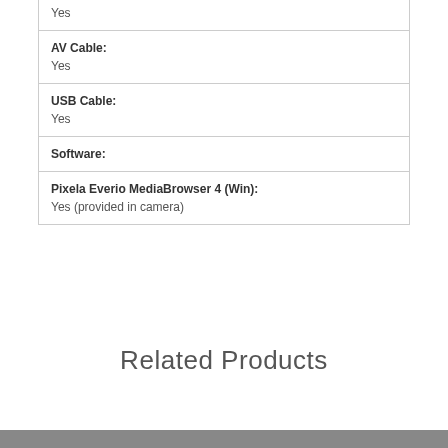| Yes |
| AV Cable: | Yes |
| USB Cable: | Yes |
| Software: |
| Pixela Everio MediaBrowser 4 (Win): | Yes (provided in camera) |
Related Products